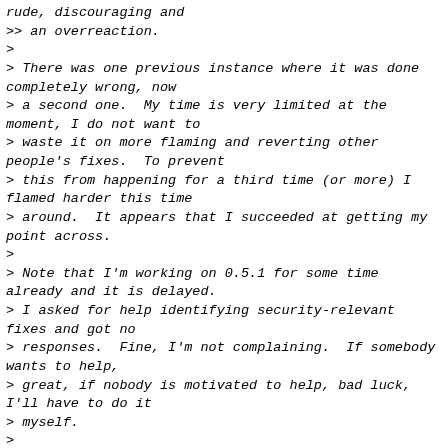rude, discouraging and
>> an overreaction.
>
> There was one previous instance where it was done completely wrong, now
> a second one.  My time is very limited at the moment, I do not want to
> waste it on more flaming and reverting other people's fixes.  To prevent
> this from happening for a third time (or more) I flamed harder this time
> around.  It appears that I succeeded at getting my point across.
>
> Note that I'm working on 0.5.1 for some time already and it is delayed.
> I asked for help identifying security-relevant fixes and got no
> responses.  Fine, I'm not complaining.  If somebody wants to help,
> great, if nobody is motivated to help, bad luck, I'll have to do it
> myself.
>
> What I do *not* want is people putting obstacles in my way and wasting
> the little time that I have available.  Unfortunately, this is the
> situation right now and there is no way I can tolerate that if I want
> to get any productive work done at all, sorry.